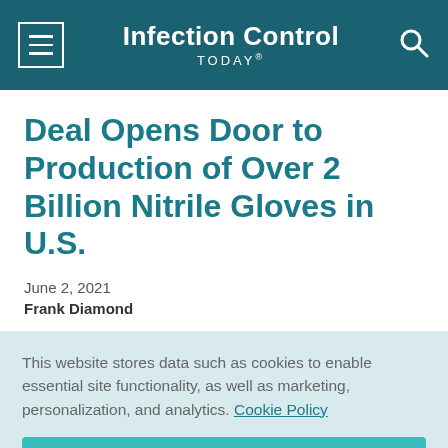Infection Control TODAY®
Deal Opens Door to Production of Over 2 Billion Nitrile Gloves in U.S.
June 2, 2021
Frank Diamond
This website stores data such as cookies to enable essential site functionality, as well as marketing, personalization, and analytics. Cookie Policy
Accept
Deny